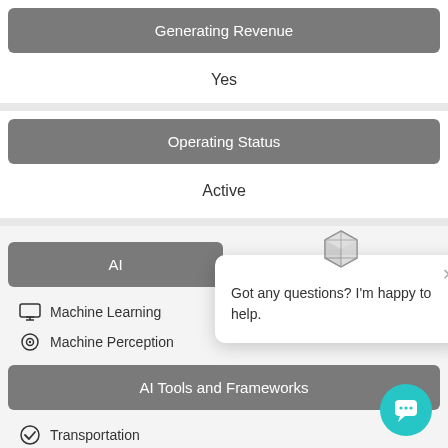Generating Revenue
Yes
Operating Status
Active
AI
Machine Learning
Machine Perception
[Figure (screenshot): Chatbot popup with cube icon, close button, and text: Got any questions? I'm happy to help.]
AI Tools and Frameworks
Transportation